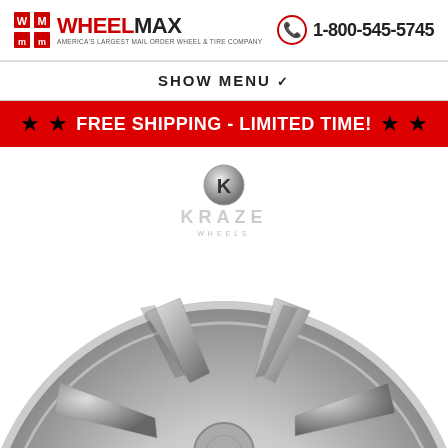WHEELMAX — America's Largest Mail Order Wheel & Tire Company | 1-800-545-5745
SHOW MENU ✓
★ ★ FREE SHIPPING - LIMITED TIME! ★ ★
[Figure (logo): Kraze Wheels logo with chrome K emblem and KRAZE WHEELS text]
[Figure (photo): Chrome Kraze wheel rim close-up photo showing multi-spoke design]